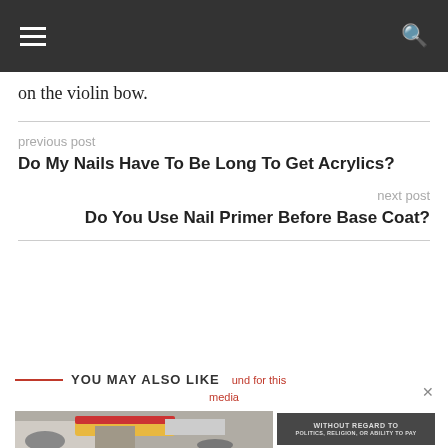on the violin bow.
previous post
Do My Nails Have To Be Long To Get Acrylics?
next post
Do You Use Nail Primer Before Base Coat?
YOU MAY ALSO LIKE
[Figure (photo): Cargo airplane being loaded, partially visible]
WITHOUT REGARD TO